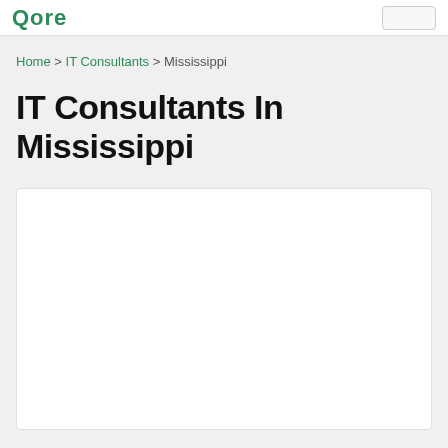Qore | [search box]
Home > IT Consultants > Mississippi
IT Consultants In Mississippi
[Figure (other): White content card / listing area, empty in this view]